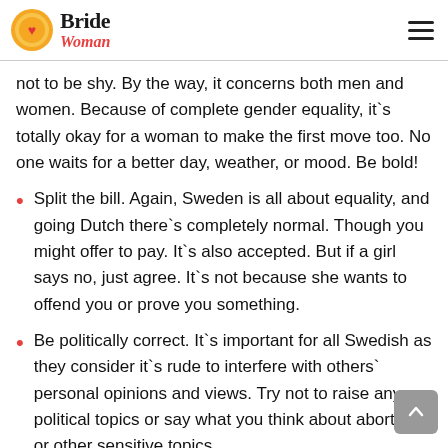Bride Woman
not to be shy. By the way, it concerns both men and women. Because of complete gender equality, it`s totally okay for a woman to make the first move too. No one waits for a better day, weather, or mood. Be bold!
Split the bill. Again, Sweden is all about equality, and going Dutch there`s completely normal. Though you might offer to pay. It`s also accepted. But if a girl says no, just agree. It`s not because she wants to offend you or prove you something.
Be politically correct. It`s important for all Swedish as they consider it`s rude to interfere with others` personal opinions and views. Try not to raise any political topics or say what you think about abortion or other sensitive topics.